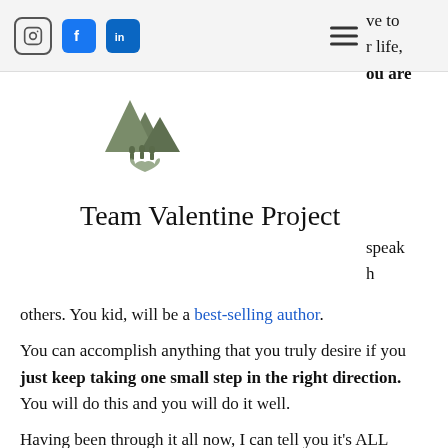Social media icons (Instagram, Facebook, LinkedIn) and hamburger menu
[Figure (logo): Team Valentine Project logo: mountain peaks with silhouettes of people and a heart shape at the bottom]
Team Valentine Project
others. You kid, will be a best-selling author.
You can accomplish anything that you truly desire if you just keep taking one small step in the right direction. You will do this and you will do it well.
Having been through it all now, I can tell you it's ALL worth fighting for! Each obstacle you overcome will